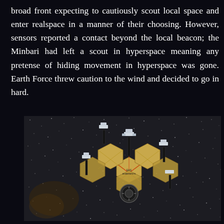broad front expecting to cautiously scout local space and enter realspace in a manner of their choosing. However, sensors reported a contact beyond the local beacon; the Minbari had left a scout in hyperspace meaning any pretense of hiding movement in hyperspace was gone. Earth Force threw caution to the wind and decided to go in hard.
[Figure (photo): Photograph of miniature spacecraft models (resembling hexagonal/angular space vessels) arranged on a dark starfield background, appearing to be tabletop gaming miniatures]